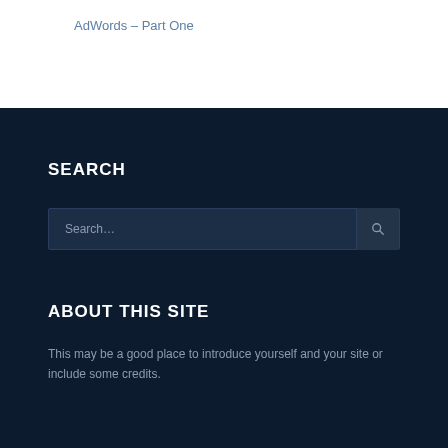AdWords – Part One
SEARCH
Search...
ABOUT THIS SITE
This may be a good place to introduce yourself and your site or include some credits.